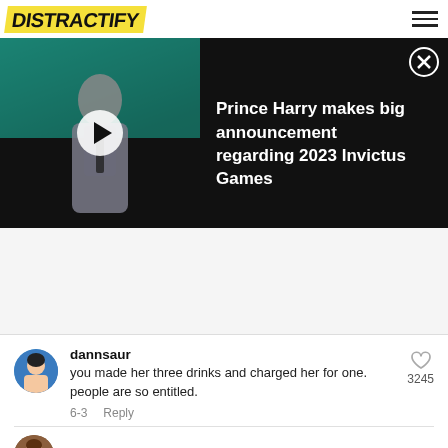DISTRACTIFY
[Figure (screenshot): Video thumbnail showing a man in a grey shirt on a dark background with a teal element, with a play button overlay. Text reads: 'Prince Harry makes big announcement regarding 2023 Invictus Games']
dannsaur
you made her three drinks and charged her for one. people are so entitled.
6-3  Reply
3245
Dean Redmond · Creator